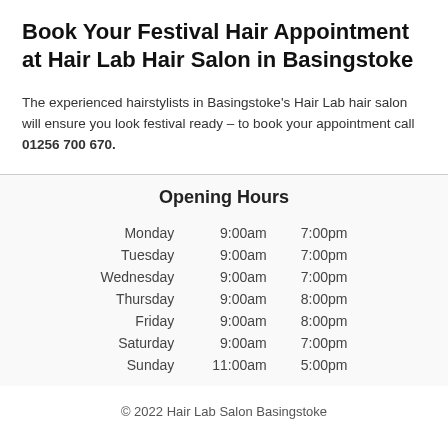Book Your Festival Hair Appointment at Hair Lab Hair Salon in Basingstoke
The experienced hairstylists in Basingstoke's Hair Lab hair salon will ensure you look festival ready – to book your appointment call 01256 700 670.
|  | Opening Hours |  |
| --- | --- | --- |
| Monday | 9:00am | 7:00pm |
| Tuesday | 9:00am | 7:00pm |
| Wednesday | 9:00am | 7:00pm |
| Thursday | 9:00am | 8:00pm |
| Friday | 9:00am | 8:00pm |
| Saturday | 9:00am | 7:00pm |
| Sunday | 11:00am | 5:00pm |
© 2022 Hair Lab Salon Basingstoke